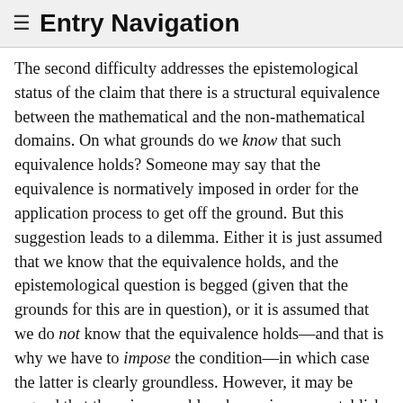≡ Entry Navigation
The second difficulty addresses the epistemological status of the claim that there is a structural equivalence between the mathematical and the non-mathematical domains. On what grounds do we know that such equivalence holds? Someone may say that the equivalence is normatively imposed in order for the application process to get off the ground. But this suggestion leads to a dilemma. Either it is just assumed that we know that the equivalence holds, and the epistemological question is begged (given that the grounds for this are in question), or it is assumed that we do not know that the equivalence holds—and that is why we have to impose the condition—in which case the latter is clearly groundless. However, it may be argued that there is no problem here, since we establish the isomorphism by examining the physical theories of the material objects under consideration. But the problem is that in order to formulate these physical theories we typically use mathematics. And the issue is precisely to explain this use, that is, to provide some understanding of the grounds in terms of which we come to know that the